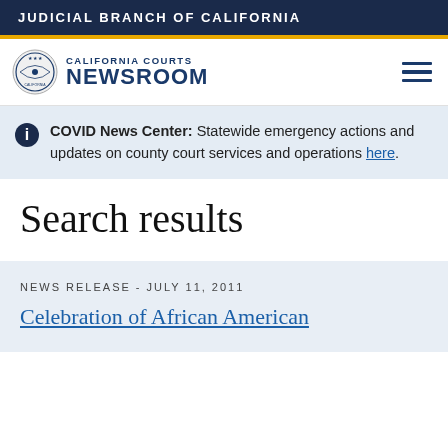JUDICIAL BRANCH OF CALIFORNIA
[Figure (logo): California Courts Newsroom logo with seal and hamburger menu icon]
COVID News Center: Statewide emergency actions and updates on county court services and operations here.
Search results
NEWS RELEASE - JULY 11, 2011
Celebration of African American